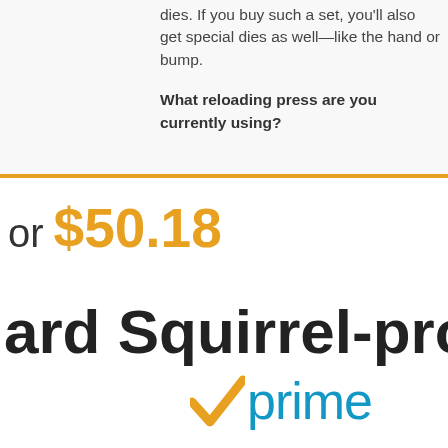dies. If you buy such a set, you'll also get special dies as well—like the hand or bump.
What reloading press are you currently using?
or $50.18
ard Squirrel-proof
[Figure (logo): Amazon Prime logo with orange checkmark and blue 'prime' text]